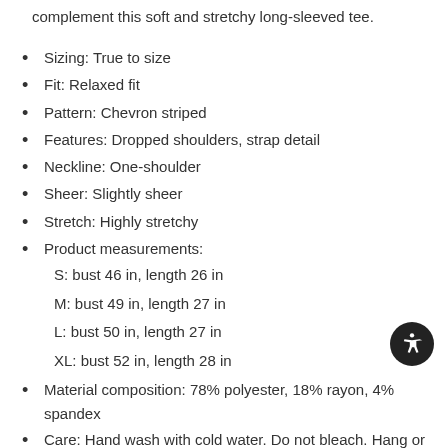complement this soft and stretchy long-sleeved tee.
Sizing: True to size
Fit: Relaxed fit
Pattern: Chevron striped
Features: Dropped shoulders, strap detail
Neckline: One-shoulder
Sheer: Slightly sheer
Stretch: Highly stretchy
Product measurements:
S: bust 46 in, length 26 in
M: bust 49 in, length 27 in
L: bust 50 in, length 27 in
XL: bust 52 in, length 28 in
Material composition: 78% polyester, 18% rayon, 4% spandex
Care: Hand wash with cold water. Do not bleach. Hang or line dry.